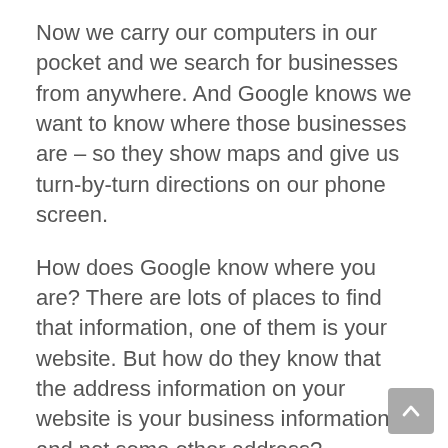Now we carry our computers in our pocket and we search for businesses from anywhere. And Google knows we want to know where those businesses are – so they show maps and give us turn-by-turn directions on our phone screen.
How does Google know where you are? There are lots of places to find that information, one of them is your website. But how do they know that the address information on your website is your business information and not some other address?
Introducing Schema Microdata
Google looks for your NAP: Name, Address, and Phone Number. It's important that your NAP is